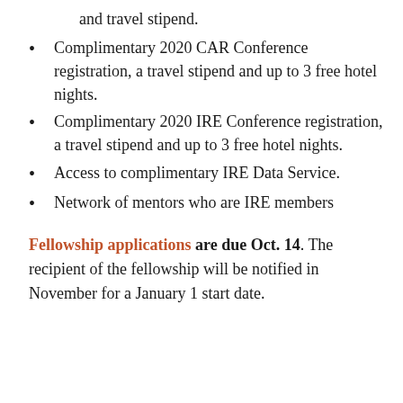and travel stipend.
Complimentary 2020 CAR Conference registration, a travel stipend and up to 3 free hotel nights.
Complimentary 2020 IRE Conference registration, a travel stipend and up to 3 free hotel nights.
Access to complimentary IRE Data Service.
Network of mentors who are IRE members
Fellowship applications are due Oct. 14. The recipient of the fellowship will be notified in November for a January 1 start date.